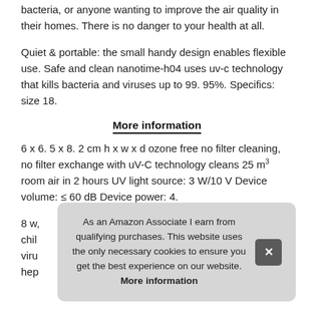bacteria, or anyone wanting to improve the air quality in their homes. There is no danger to your health at all.
Quiet & portable: the small handy design enables flexible use. Safe and clean nanotime-h04 uses uv-c technology that kills bacteria and viruses up to 99. 95%. Specifics: size 18.
More information
6 x 6. 5 x 8. 2 cm h x w x d ozone free no filter cleaning, no filter exchange with uV-C technology cleans 25 m³ room air in 2 hours UV light source: 3 W/10 V Device volume: ≤ 60 dB Device power: 4.
8 w, chil virus hep
As an Amazon Associate I earn from qualifying purchases. This website uses the only necessary cookies to ensure you get the best experience on our website. More information